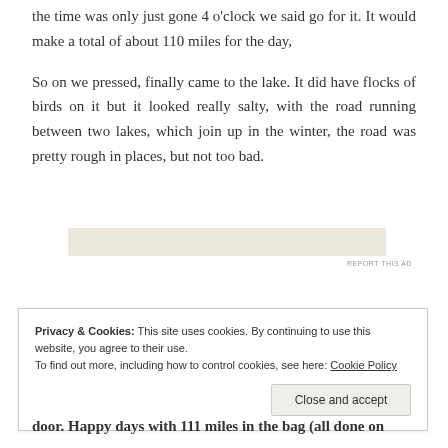the time was only just gone 4 o'clock we said go for it. It would make a total of about 110 miles for the day,
So on we pressed, finally came to the lake. It did have flocks of birds on it but it looked really salty, with the road running between two lakes, which join up in the winter, the road was pretty rough in places, but not too bad.
[Figure (other): Advertisement banner placeholder with beige/tan background]
REPORT THIS AD
Privacy & Cookies: This site uses cookies. By continuing to use this website, you agree to their use.
To find out more, including how to control cookies, see here: Cookie Policy
Close and accept
door. Happy days with 111 miles in the bag (all done on